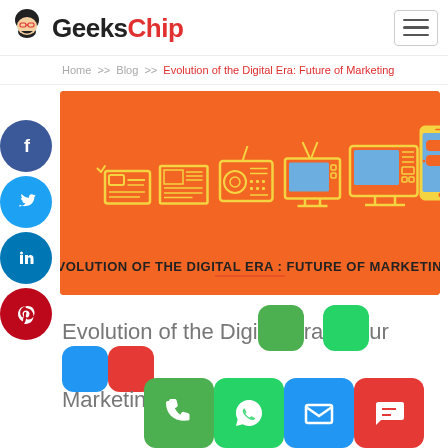GeeksChip
Home >> Blog >> Evolution of the Digital Era: Future of Marketing
[Figure (infographic): Orange background infographic showing evolution of media devices: business card, newspaper, radio, TV, desktop computer, smartphone, with text 'EVOLUTION OF THE DIGITAL ERA : FUTURE OF MARKETING']
Evolution of the Digital Era: Future of Marketing